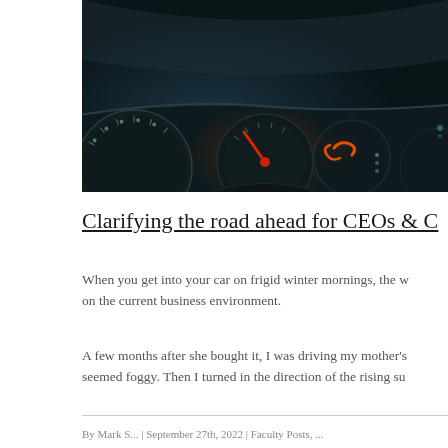[Figure (photo): Close-up photo of a car dashboard at night showing instrument gauges with red indicator needles and illuminated warning lights against a dark background.]
Clarifying the road ahead for CEOs & C
When you get into your car on frigid winter mornings, the w... on the current business environment.
A few months after she bought it, I was driving my mother's... seemed foggy. Then I turned in the direction of the rising su...
By Mark S... | September 27th, 2022 | Faculty Posts, ...